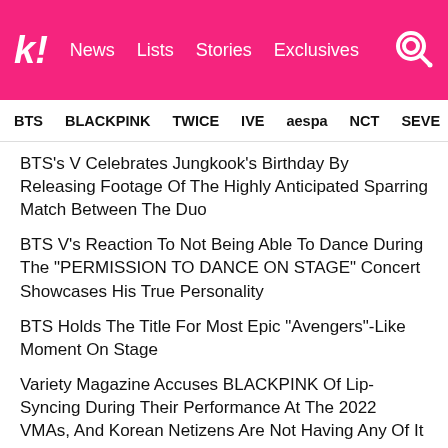koreaboo | News | Lists | Stories | Exclusives
BTS | BLACKPINK | TWICE | IVE | aespa | NCT | SEVE
BTS's V Celebrates Jungkook's Birthday By Releasing Footage Of The Highly Anticipated Sparring Match Between The Duo
BTS V's Reaction To Not Being Able To Dance During The "PERMISSION TO DANCE ON STAGE" Concert Showcases His True Personality
BTS Holds The Title For Most Epic "Avengers"-Like Moment On Stage
Variety Magazine Accuses BLACKPINK Of Lip-Syncing During Their Performance At The 2022 VMAs, And Korean Netizens Are Not Having Any Of It
Actor Kang Tae Oh Personally Announces He Will Enlist In The Military On September 20